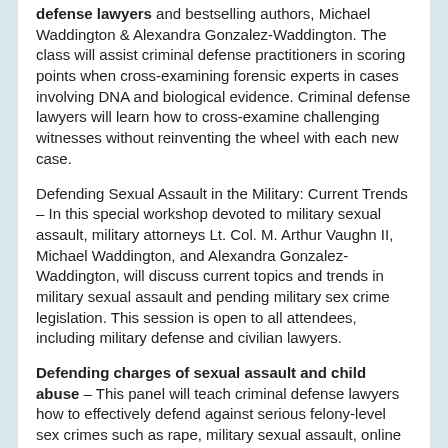defense lawyers and bestselling authors, Michael Waddington & Alexandra Gonzalez-Waddington. The class will assist criminal defense practitioners in scoring points when cross-examining forensic experts in cases involving DNA and biological evidence. Criminal defense lawyers will learn how to cross-examine challenging witnesses without reinventing the wheel with each new case.
Defending Sexual Assault in the Military: Current Trends – In this special workshop devoted to military sexual assault, military attorneys Lt. Col. M. Arthur Vaughn II, Michael Waddington, and Alexandra Gonzalez-Waddington, will discuss current topics and trends in military sexual assault and pending military sex crime legislation. This session is open to all attendees, including military defense and civilian lawyers.
Defending charges of sexual assault and child abuse – This panel will teach criminal defense lawyers how to effectively defend against serious felony-level sex crimes such as rape, military sexual assault, online sex crimes, and child abuse.